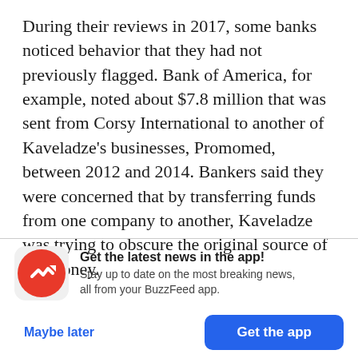During their reviews in 2017, some banks noticed behavior that they had not previously flagged. Bank of America, for example, noted about $7.8 million that was sent from Corsy International to another of Kaveladze's businesses, Promomed, between 2012 and 2014. Bankers said they were concerned that by transferring funds from one company to another, Kaveladze was trying to obscure the original source of the money.
[Figure (logo): BuzzFeed News app promo banner with red circular BuzzFeed logo icon showing a white trending arrow, headline 'Get the latest news in the app!', subtext 'Stay up to date on the most breaking news, all from your BuzzFeed app.', with 'Maybe later' and 'Get the app' buttons.]